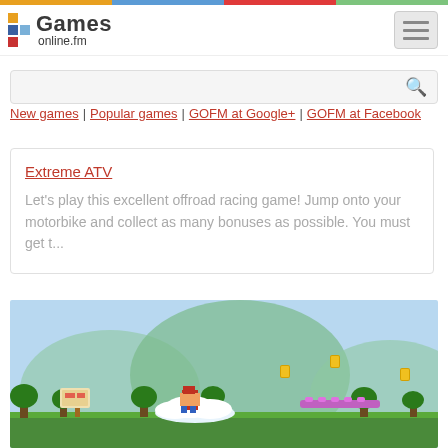Games online.fm
New games | Popular games | GOFM at Google+ | GOFM at Facebook
Extreme ATV
Let's play this excellent offroad racing game! Jump onto your motorbike and collect as many bonuses as possible. You must get t...
[Figure (screenshot): Screenshot of a Mario-style platform game showing a character on a cloud platform with green hills, trees, coins, and a sign in the background]